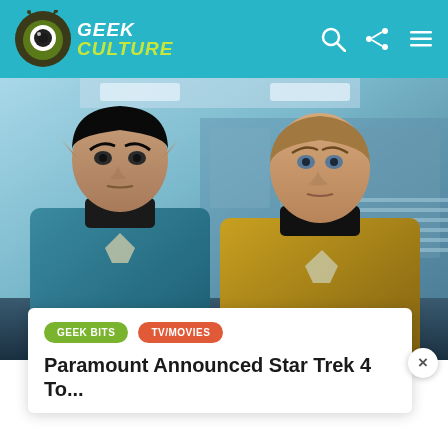Geek Culture
[Figure (photo): Star Trek movie still showing two characters in Starfleet uniforms — one in blue (Spock) and one in gold (Kirk) — standing on the bridge of a starship.]
GEEK BITS
TV/MOVIES
Paramount Announced Star Trek 4 To...